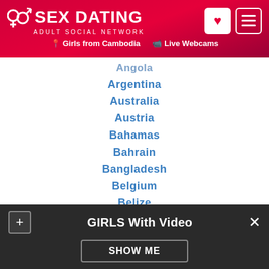SEX DATING ADULT SOCIAL NETWORK | Girls from Cambodia | Live Webcams
Angola
Argentina
Australia
Austria
Bahamas
Bahrain
Bangladesh
Belgium
Belize
Bosnia and Herzegovina
Brazil
Bulgaria
Cambodia
GIRLS With Video
SHOW ME